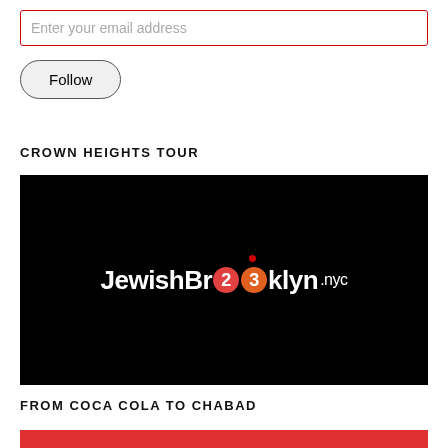Enter your email address
Follow
CROWN HEIGHTS TOUR
[Figure (logo): JewishBrooklyn.nyc logo on black background with NYC subway circle indicators replacing the two 'o' letters, and a small red location pin dot above]
FROM COCA COLA TO CHABAD